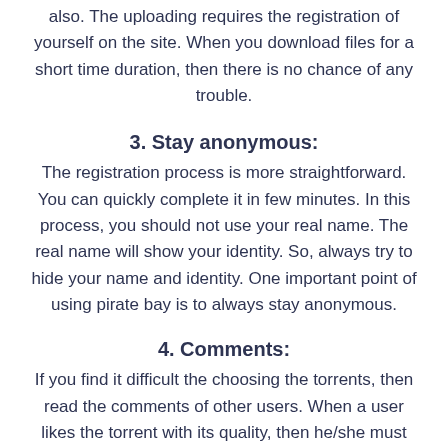also. The uploading requires the registration of yourself on the site. When you download files for a short time duration, then there is no chance of any trouble.
3. Stay anonymous:
The registration process is more straightforward. You can quickly complete it in few minutes. In this process, you should not use your real name. The real name will show your identity. So, always try to hide your name and identity. One important point of using pirate bay is to always stay anonymous.
4. Comments:
If you find it difficult the choosing the torrents, then read the comments of other users. When a user likes the torrent with its quality, then he/she must leave a comment. Hence, you will efficiently choose one link among numerous links. Likewise, you can also write a comment if you find any file very useful. It will help other users.
5. Additional protection:
Indeed, TPB is safer & reliable. The site ensures that your